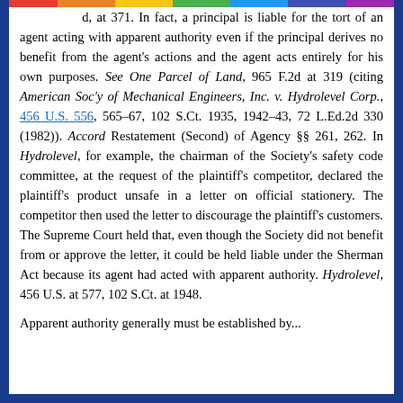d, at 371. In fact, a principal is liable for the tort of an agent acting with apparent authority even if the principal derives no benefit from the agent's actions and the agent acts entirely for his own purposes. See One Parcel of Land, 965 F.2d at 319 (citing American Soc'y of Mechanical Engineers, Inc. v. Hydrolevel Corp., 456 U.S. 556, 565-67, 102 S.Ct. 1935, 1942-43, 72 L.Ed.2d 330 (1982)). Accord Restatement (Second) of Agency §§ 261, 262. In Hydrolevel, for example, the chairman of the Society's safety code committee, at the request of the plaintiff's competitor, declared the plaintiff's product unsafe in a letter on official stationery. The competitor then used the letter to discourage the plaintiff's customers. The Supreme Court held that, even though the Society did not benefit from or approve the letter, it could be held liable under the Sherman Act because its agent had acted with apparent authority. Hydrolevel, 456 U.S. at 577, 102 S.Ct. at 1948.
Apparent authority generally must be established by...